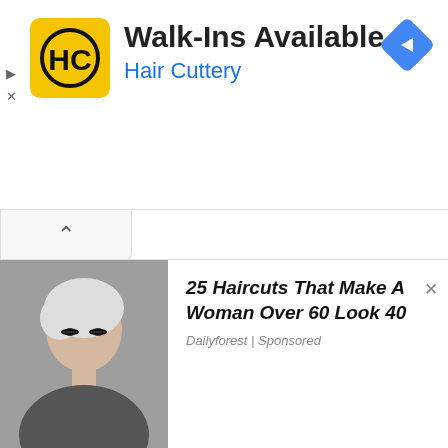[Figure (logo): Hair Cuttery yellow square logo with HC in black circle]
Walk-Ins Available
Hair Cuttery
[Figure (illustration): Blue diamond-shaped navigation/directions icon with white arrow pointing right]
▷
X
[Figure (other): Collapse tab with chevron up arrow]
[Figure (photo): Woman with short silver/white hair and dark eye makeup]
25 Haircuts That Make A Woman Over 60 Look 40
Dailyforest | Sponsored